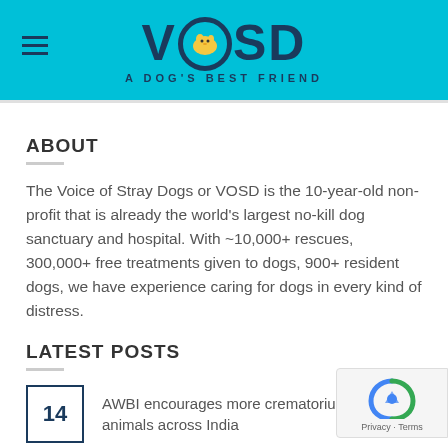VOSD - A DOG'S BEST FRIEND
ABOUT
The Voice of Stray Dogs or VOSD is the 10-year-old non-profit that is already the world's largest no-kill dog sanctuary and hospital. With ~10,000+ rescues, 300,000+ free treatments given to dogs, 900+ resident dogs, we have experience caring for dogs in every kind of distress.
LATEST POSTS
14 — AWBI encourages more crematoriums for animals across India
05 — Old & ailing stray dog rescued at the right time